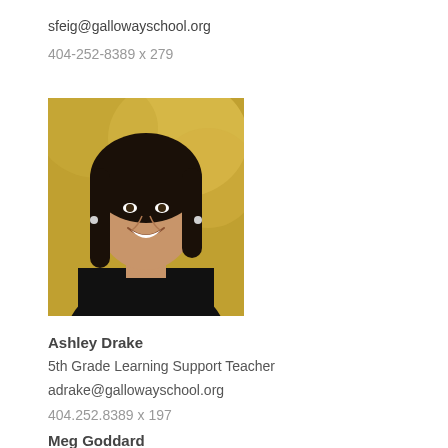sfeig@gallowayschool.org
404-252-8389 x 279
[Figure (photo): Professional headshot of Ashley Drake, a woman with long dark hair, smiling, wearing a black top, with a blurred outdoor background.]
Ashley Drake
5th Grade Learning Support Teacher
adrake@gallowayschool.org
404.252.8389 x 197
Meg Goddard